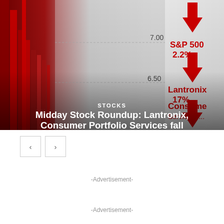[Figure (screenshot): Stock market chart screenshot showing red downward arrows and price levels. S&P 500 down 2.2%, Lantronix down 17%, Consumer (Services) visible. Price levels 7.00 and 6.50 shown on chart. Red candlestick/bar chart on left side.]
STOCKS
Midday Stock Roundup: Lantronix, Consumer Portfolio Services fall
-Advertisement-
-Advertisement-